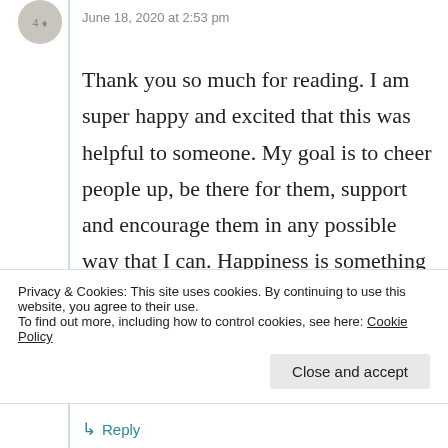June 18, 2020 at 2:53 pm
Thank you so much for reading. I am super happy and excited that this was helpful to someone. My goal is to cheer people up, be there for them, support and encourage them in any possible way that I can. Happiness is something everyone deserves. I have no doubt that you especially deserve to be happy. I am glad I could be of help.
Privacy & Cookies: This site uses cookies. By continuing to use this website, you agree to their use.
To find out more, including how to control cookies, see here: Cookie Policy
Close and accept
Reply